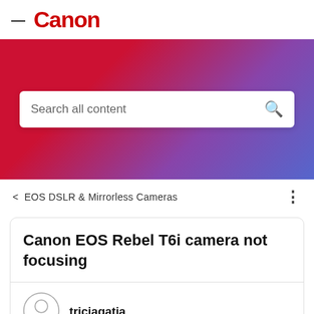— Canon
[Figure (screenshot): Canon website hero banner with red-to-blue-purple gradient background and a white search bar containing 'Search all content' with a search icon]
< EOS DSLR & Mirrorless Cameras
Canon EOS Rebel T6i camera not focusing
triciagatia